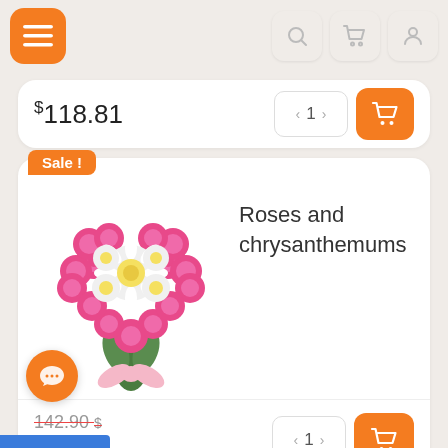[Figure (screenshot): Mobile e-commerce app navigation bar with orange hamburger menu button and search, cart, profile icons]
$118.81
[Figure (photo): Heart-shaped bouquet of pink roses and white chrysanthemums with pink ribbon]
Roses and chrysanthemums
142.90 $
19.08